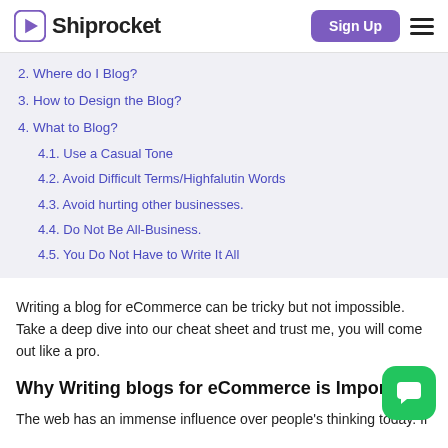Shiprocket | Sign Up
2. Where do I Blog?
3. How to Design the Blog?
4. What to Blog?
4.1. Use a Casual Tone
4.2. Avoid Difficult Terms/Highfalutin Words
4.3. Avoid hurting other businesses.
4.4. Do Not Be All-Business.
4.5. You Do Not Have to Write It All
Writing a blog for eCommerce can be tricky but not impossible. Take a deep dive into our cheat sheet and trust me, you will come out like a pro.
Why Writing blogs for eCommerce is Importa
The web has an immense influence over people's thinking today. If